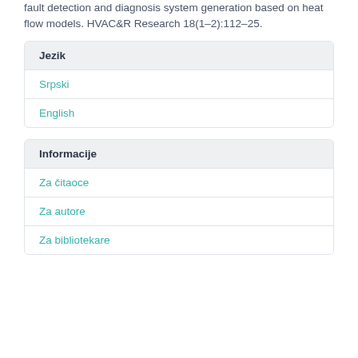fault detection and diagnosis system generation based on heat flow models. HVAC&R Research 18(1–2):112–25.
Jezik
Srpski
English
Informacije
Za čitaoce
Za autore
Za bibliotekare